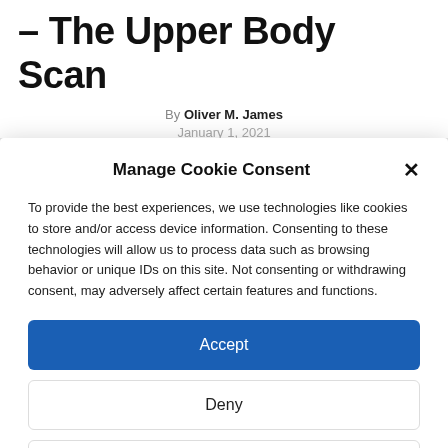– The Upper Body Scan
By Oliver M. James
January 1, 2021
Manage Cookie Consent
To provide the best experiences, we use technologies like cookies to store and/or access device information. Consenting to these technologies will allow us to process data such as browsing behavior or unique IDs on this site. Not consenting or withdrawing consent, may adversely affect certain features and functions.
Accept
Deny
View preferences
Terms  Privacy Policy